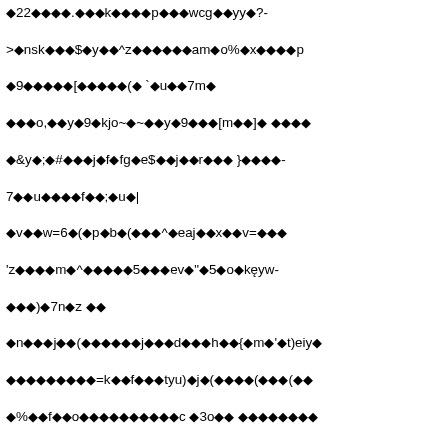Garbled/encoded text content with diamond replacement characters throughout the page. Content appears to be corrupted or encoded text with symbols replacing original characters.